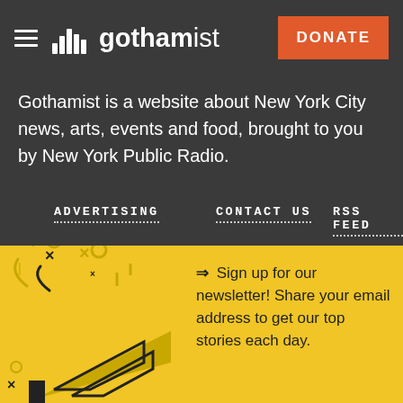Gothamist — DONATE
Gothamist is a website about New York City news, arts, events and food, brought to you by New York Public Radio.
ADVERTISING
CONTACT US
RSS FEED
DIVERSITY (DEI)
SUPPORT US
[Figure (illustration): Party popper / megaphone illustration with confetti in dark and yellow colors on a yellow background]
Sign up for our newsletter! Share your email address to get our top stories each day.